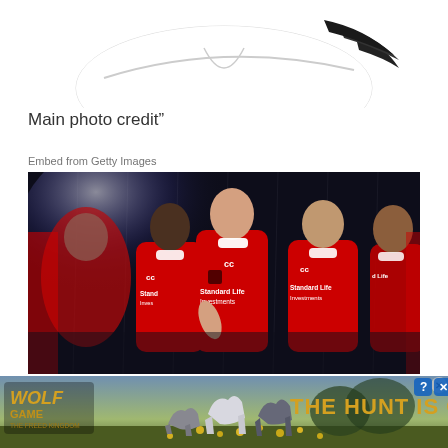[Figure (photo): Top portion of a rugby ball on white background, showing the curved black-tipped end of the ball]
Main photo credit”
Embed from Getty Images
[Figure (photo): Five British and Irish Lions rugby players wearing red Canterbury jerseys with Standard Life Investments sponsor, posing in dramatic dark lighting with a bright spotlight behind them]
[Figure (photo): Wolf Game advertisement banner: wolves in a field with text THE HUNT IS ON! and Wolf Game The Freed Kingdom logo on the left]